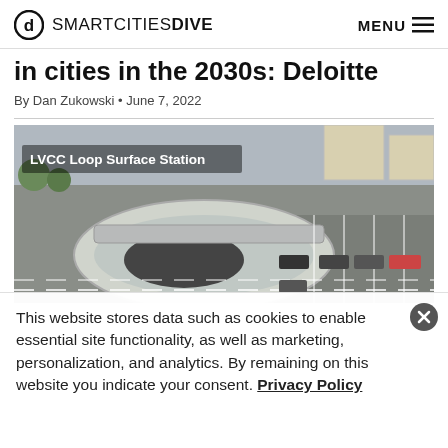SMARTCITIESDIVE  MENU
in cities in the 2030s: Deloitte
By Dan Zukowski • June 7, 2022
[Figure (photo): Aerial view of LVCC Loop Surface Station, showing a futuristic oval tunnel entrance structure with a parking lot and cars]
This website stores data such as cookies to enable essential site functionality, as well as marketing, personalization, and analytics. By remaining on this website you indicate your consent. Privacy Policy